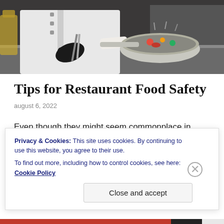[Figure (photo): A chef in white uniform and black gloves tossing food in a stainless steel pan in a professional kitchen.]
Tips for Restaurant Food Safety
august 6, 2022
Even though they might seem commonplace in every hotel or cafe, you must leave your kitchen habits at
Privacy & Cookies: This site uses cookies. By continuing to use this website, you agree to their use.
To find out more, including how to control cookies, see here: Cookie Policy
Close and accept